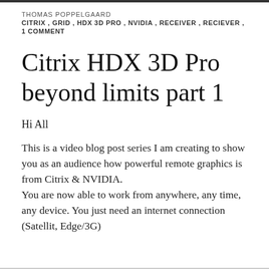THOMAS POPPELGAARD
CITRIX , GRID , HDX 3D PRO , NVIDIA , RECEIVER , RECIEVER ,
1 COMMENT
Citrix HDX 3D Pro beyond limits part 1
Hi All
This is a video blog post series I am creating to show you as an audience how powerful remote graphics is from Citrix & NVIDIA.
You are now able to work from anywhere, any time, any device. You just need an internet connection (Satellit, Edge/3G)